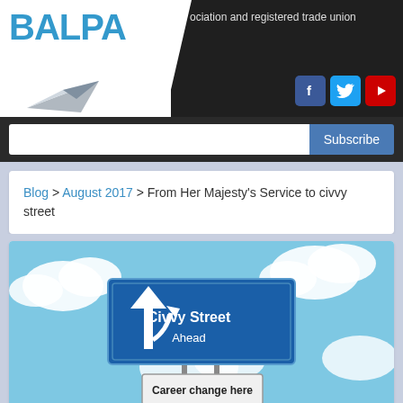[Figure (logo): BALPA logo with blue text and paper airplane graphic on white/dark header background with social media icons (Facebook, Twitter, YouTube) and tagline 'ociation and registered trade union']
Subscribe
Blog > August 2017 > From Her Majesty's Service to civvy street
[Figure (illustration): Road sign illustration against blue sky with clouds. Blue motorway-style sign reads 'Civvy Street Ahead' with a white arrow and merge symbol. Below hangs a secondary sign reading 'Career change here'.]